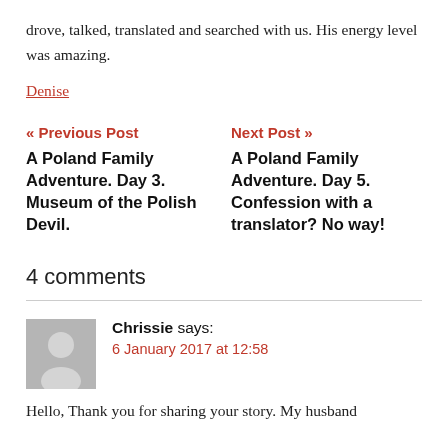drove, talked, translated and searched with us. His energy level was amazing.
Denise
« Previous Post
A Poland Family Adventure. Day 3. Museum of the Polish Devil.
Next Post »
A Poland Family Adventure. Day 5. Confession with a translator? No way!
4 comments
Chrissie says:
6 January 2017 at 12:58
Hello, Thank you for sharing your story. My husband